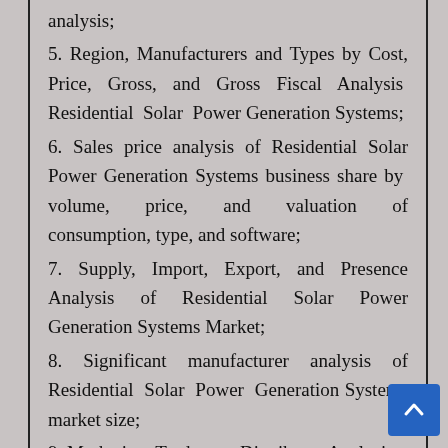analysis;
5. Region, Manufacturers and Types by Cost, Price, Gross, and Gross Fiscal Analysis Residential Solar Power Generation Systems;
6. Sales price analysis of Residential Solar Power Generation Systems business share by volume, price, and valuation of consumption, type, and software;
7. Supply, Import, Export, and Presence Analysis of Residential Solar Power Generation Systems Market;
8. Significant manufacturer analysis of Residential Solar Power Generation Systems market size;
9. Marketing Trader or Distributor Analysis;